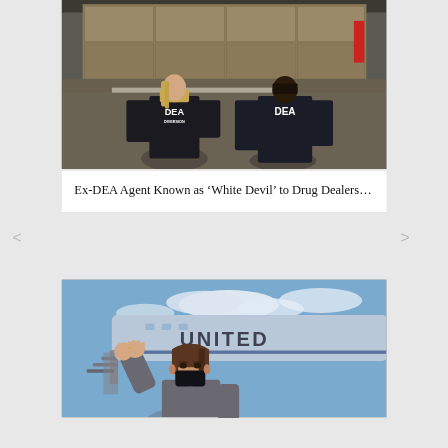[Figure (photo): Two people wearing dark DEA jackets (one labeled 'DEA DIVERSION', one labeled 'DEA') standing at the open back of a truck loaded with boxes]
Ex-DEA Agent Known as ‘White Devil’ to Drug Dealers…
[Figure (photo): Woman wearing a black face mask waving in front of a United Airlines or government aircraft with 'UNITED' visible on the fuselage]